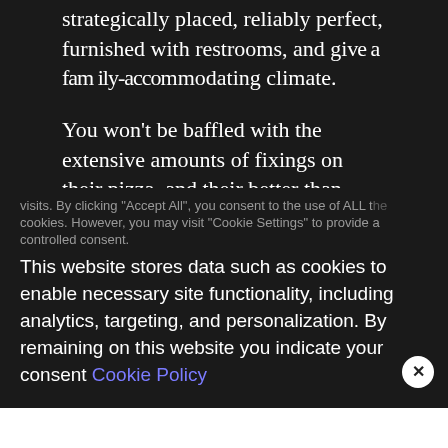strategically placed, reliably perfect, furnished with restrooms, and give a family-accommodating climate.
You won't be baffled with the extensive amounts of fixings on their pizza, and their better than average choice of new subs, servings of mixed greens, and cakes.
Everything is offered at a decent esteem and conveyance services are likewise given. Their
We use cookies on our website to give you the most relevant experience by remembering your preferences and repeat
visits. By clicking "Accept All", you consent to the use of ALL the cookies. However, you may visit "Cookie Settings" to provide a controlled consent.
This website stores data such as cookies to enable necessary site functionality, including analytics, targeting, and personalization. By remaining on this website you indicate your consent Cookie Policy